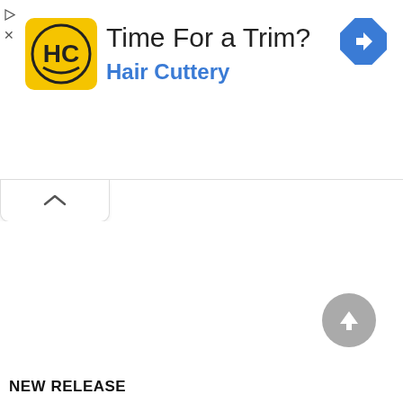[Figure (screenshot): Hair Cuttery advertisement banner with yellow logo showing HC letters in a circle, ad title 'Time For a Trim?', subtitle 'Hair Cuttery' in blue, and a blue diamond navigation icon on the right. Small play and X controls on the left edge.]
[Figure (screenshot): Collapse/chevron-up tab button below the ad banner]
[Figure (screenshot): Gray circular scroll-to-top button with upward arrow]
NEW RELEASE